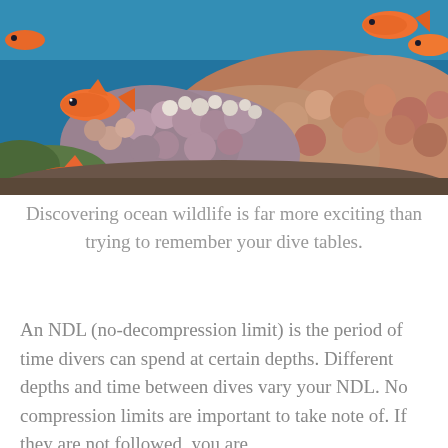[Figure (photo): Underwater photograph of a coral reef with orange/red tropical fish swimming around colorful coral formations against a blue ocean background.]
Discovering ocean wildlife is far more exciting than trying to remember your dive tables.
An NDL (no-decompression limit) is the period of time divers can spend at certain depths. Different depths and time between dives vary your NDL. No compression limits are important to take note of. If they are not followed, you are